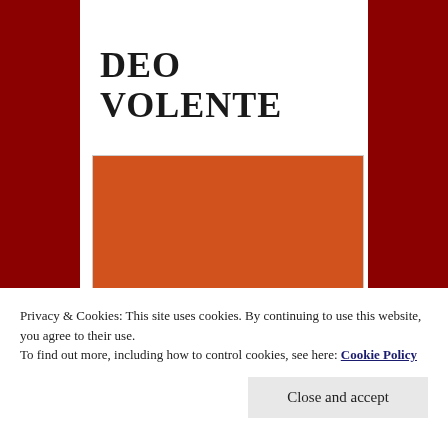DEO VOLENTE
[Figure (photo): Partial view of a figure against an orange/red background, with a white sculptural or fabric element visible at the bottom center of the image.]
Privacy & Cookies: This site uses cookies. By continuing to use this website, you agree to their use.
To find out more, including how to control cookies, see here: Cookie Policy
Close and accept